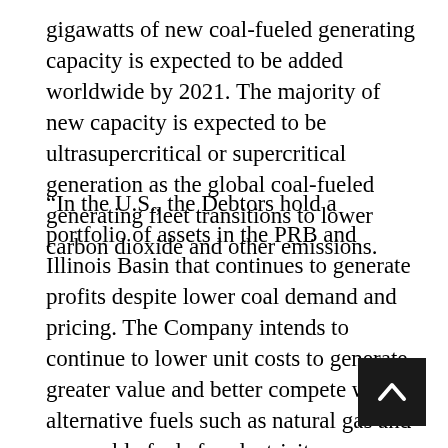gigawatts of new coal-fueled generating capacity is expected to be added worldwide by 2021. The majority of new capacity is expected to be ultrasupercritical or supercritical generation as the global coal-fueled generating fleet transitions to lower carbon dioxide and other emissions.
“In the U.S., the Debtors hold a portfolio of assets in the PRB and Illinois Basin that continues to generate profits despite lower coal demand and pricing. The Company intends to continue to lower unit costs to generate greater value and better compete with alternative fuels such as natural gas and renewable fuels for electricity generation. In Australia, the Company has targeted a smaller, more profitable platform focused on (i) premium thermal and metallurgical coal products and (ii) highly productive, lower cost mining assets, in order to serve higher grade markets in Asia. The Company will look to improve and optimize strategic assets, divest, sell or suspend